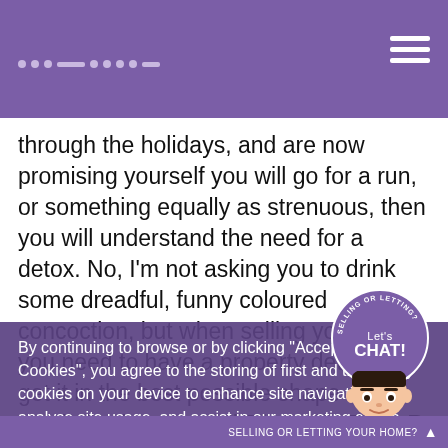· · · — · · · · ◆   [hamburger menu]
through the holidays, and are now promising yourself you will go for a run, or something equally as strenuous, then you will understand the need for a detox. No, I'm not asking you to drink some dreadful, funny coloured concoction, but when selling your home you need to have a property detox to get it in the best possible shape and maximise its potential. Ditch the Toys R Us look Kids plus Christmas creates an explosion of mega proportions. Not only does their excitement reach fever pitch, but then you have the carefree abandonment of the present opening. Paper, gift tags and packaging are flung across the room as they desperately try to reach the golden ticket inside. When you've finally sorted this away, they then proceed to decorate your living room with all of their new gifts. Okay, I love it but potential buyers are not wanting to see their gifts, amazing as they may be; buyers simply w
By continuing to browse or by clicking "Accept All Cookies", you agree to the storing of first and third-party cookies on your device to enhance site navigation, analyse site usage, and assist in our marketing efforts. Review our Cookie Policy
Deny Cookies    Accept All Cookies
[Figure (other): Purple circular chat widget with 'Let's CHAT!' text and animated agent character head, with arc text 'SELLING OR LETTING?']
SELLING OR LETTING YOUR HOME? ▲